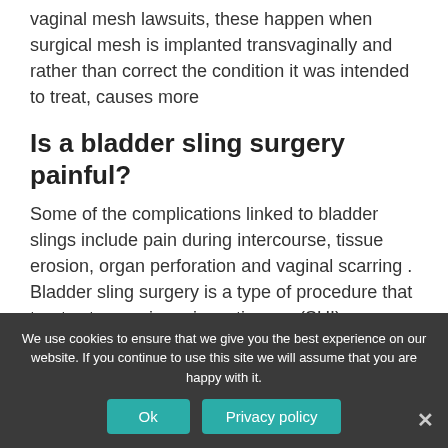vaginal mesh lawsuits, these happen when surgical mesh is implanted transvaginally and rather than correct the condition it was intended to treat, causes more
Is a bladder sling surgery painful?
Some of the complications linked to bladder slings include pain during intercourse, tissue erosion, organ perforation and vaginal scarring . Bladder sling surgery is a type of procedure that treats stress urinary incontinence (SUI).
[Figure (screenshot): Video thumbnail showing a dark background with a circular white avatar logo with text 'Lieff' and partial video title text visible]
We use cookies to ensure that we give you the best experience on our website. If you continue to use this site we will assume that you are happy with it.